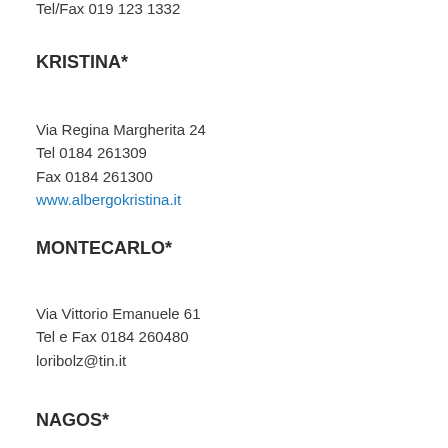Tel/Fax 019 123 1332
KRISTINA*
Via Regina Margherita 24
Tel 0184 261309
Fax 0184 261300
www.albergokristina.it
MONTECARLO*
Via Vittorio Emanuele 61
Tel e Fax 0184 260480
loribolz@tin.it
NAGOS*